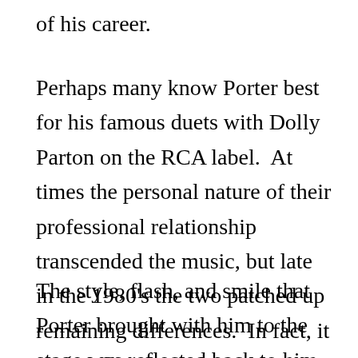of his career.
Perhaps many know Porter best for his famous duets with Dolly Parton on the RCA label.  At times the personal nature of their professional relationship transcended the music, but late in the 1980's the two patched up remaining differences.  In fact, it was Dolly who inducted Porter into the Country Music Hall of Fame in 2002.
The style, flash, and smile that Porter brought with him to the stage was reflected back to him with warm applause and appreciation night after night on the Opry